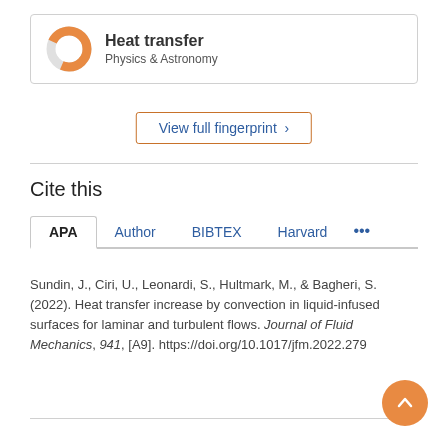[Figure (donut-chart): Donut chart showing Heat transfer percentage with orange/gold coloring, approximately 75% filled]
Heat transfer
Physics & Astronomy
View full fingerprint >
Cite this
APA   Author   BIBTEX   Harvard   ...
Sundin, J., Ciri, U., Leonardi, S., Hultmark, M., & Bagheri, S. (2022). Heat transfer increase by convection in liquid-infused surfaces for laminar and turbulent flows. Journal of Fluid Mechanics, 941, [A9]. https://doi.org/10.1017/jfm.2022.279